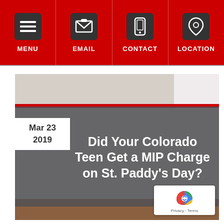MENU | EMAIL | CONTACT | LOCATION
[Figure (photo): Article card showing date Mar 23 2019, title 'Did Your Colorado Teen Get a MIP Charge on St. Paddy's Day?' overlaid on a photo of teenagers at a party sitting on a couch]
Did Your Colorado Teen Get a MIP Charge on St. Paddy's Day?
Mar 23 2019